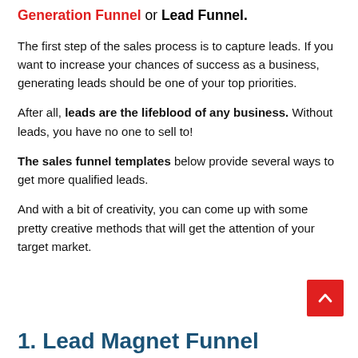The first sales funnel template is the Lead Generation Funnel or Lead Funnel.
The first step of the sales process is to capture leads. If you want to increase your chances of success as a business, generating leads should be one of your top priorities.
After all, leads are the lifeblood of any business. Without leads, you have no one to sell to!
The sales funnel templates below provide several ways to get more qualified leads.
And with a bit of creativity, you can come up with some pretty creative methods that will get the attention of your target market.
1. Lead Magnet Funnel